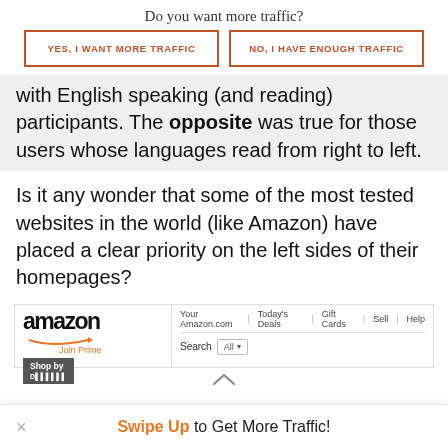Do you want more traffic?
[Figure (other): Two call-to-action buttons: 'YES, I WANT MORE TRAFFIC' and 'NO, I HAVE ENOUGH TRAFFIC' with orange borders on white background]
with English speaking (and reading) participants. The opposite was true for those users whose languages read from right to left.
Is it any wonder that some of the most tested websites in the world (like Amazon) have placed a clear priority on the left sides of their homepages?
[Figure (screenshot): Amazon.com homepage screenshot showing logo, navigation bar with Your Amazon.com, Today's Deals, Gift Cards, Sell, Help, Shop by Department button, and Search bar]
Swipe Up to Get More Traffic!